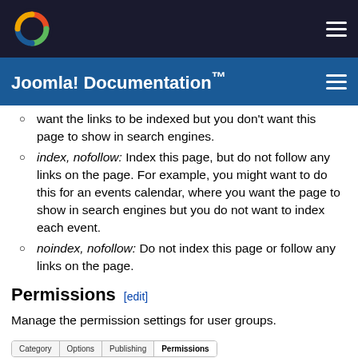[Figure (logo): Joomla logo in top navigation bar]
Joomla! Documentation™
index, nofollow: Index this page, but do not follow any links on the page. For example, you might want to do this for an events calendar, where you want the page to show in search engines but you do not want to index each event.
noindex, nofollow: Do not index this page or follow any links on the page.
Permissions [edit]
Manage the permission settings for user groups.
[Figure (screenshot): Tab bar with Category, Options, Publishing, Permissions tabs]